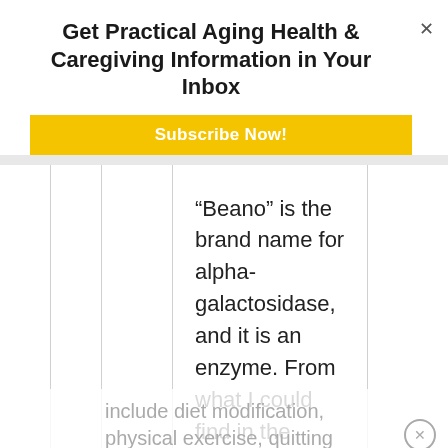Get Practical Aging Health & Caregiving Information in Your Inbox
Subscribe Now!
“Beano” is the brand name for alpha-galactosidase, and it is an enzyme. From what I could find in the scientific literature, the evidence that it works well to reduce intestinal gas is m=limited, so I don’t recommend it.

Other things that could help include diet modification, physical exercise, quitting
include diet modification, physical exercise, quitting